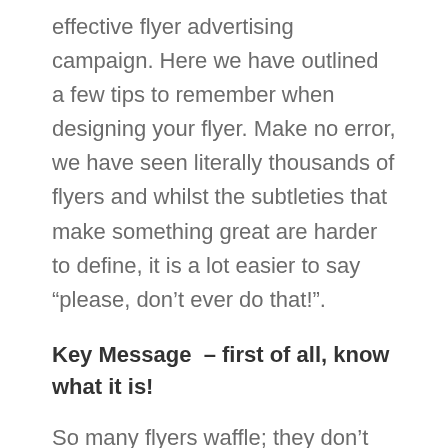effective flyer advertising campaign. Here we have outlined a few tips to remember when designing your flyer. Make no error, we have seen literally thousands of flyers and whilst the subtleties that make something great are harder to define, it is a lot easier to say “please, don’t ever do that!”.
Key Message – first of all, know what it is!
So many flyers waffle; they don’t have a punchy key message – know what your ‘elevator pitch’ is and use it. Why would someone want to buy your product or use